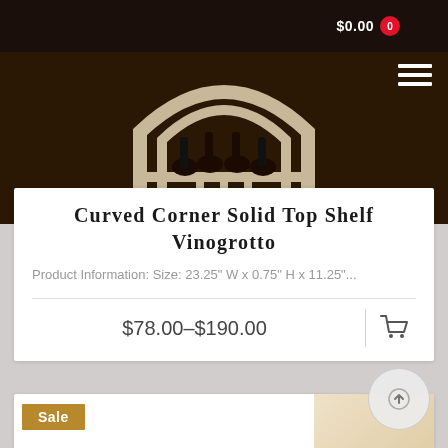$0.00
[Figure (photo): Wine rack / Vinogrotto product header image with wine bottles in curved wooden rack structure, dark brown background]
Curved Corner Solid Top Shelf Vinogrotto
Product Information: Size: 23.25" W x 0.75" H x 11.25"...
$78.00–$190.00
Sale
[Figure (photo): Partial product image in second card at bottom of page]